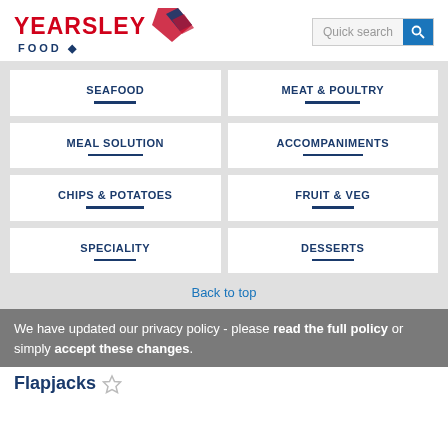[Figure (logo): Yearsley Food logo with red text and diamond graphic]
SEAFOOD
MEAT & POULTRY
MEAL SOLUTION
ACCOMPANIMENTS
CHIPS & POTATOES
FRUIT & VEG
SPECIALITY
DESSERTS
Back to top
We have updated our privacy policy - please read the full policy or simply accept these changes.
Flapjacks